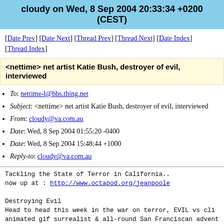cloudy on Wed, 8 Sep 2004 20:33:34 +0200 (CEST)
[Date Prev] [Date Next] [Thread Prev] [Thread Next] [Date Index] [Thread Index]
<nettime> net artist Katie Bush, destroyer of evil, interviewed
To: nettime-l@bbs.thing.net
Subject: <nettime> net artist Katie Bush, destroyer of evil, interviewed
From: cloudy@va.com.au
Date: Wed, 8 Sep 2004 01:55:20 -0400
Date: Wed, 8 Sep 2004 15:48:44 +1000
Reply-to: cloudy@va.com.au
Tackling the State of Terror in California..
now up at : http://www.octapod.org/jeanpoole

Destroying Evil
Head to head this week in the war on terror, EVIL vs cli
animated gif surrealist & all-round San Franciscan advent
Katie Bush. Print media cannot do justice to the twin blo
for freedom at the stroboscopic browser batterers: destro